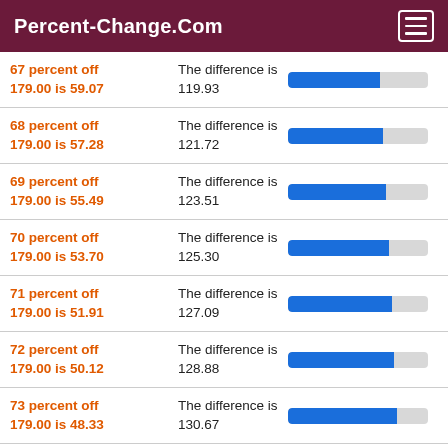Percent-Change.Com
67 percent off 179.00 is 59.07 | The difference is 119.93
68 percent off 179.00 is 57.28 | The difference is 121.72
69 percent off 179.00 is 55.49 | The difference is 123.51
70 percent off 179.00 is 53.70 | The difference is 125.30
71 percent off 179.00 is 51.91 | The difference is 127.09
72 percent off 179.00 is 50.12 | The difference is 128.88
73 percent off 179.00 is 48.33 | The difference is 130.67